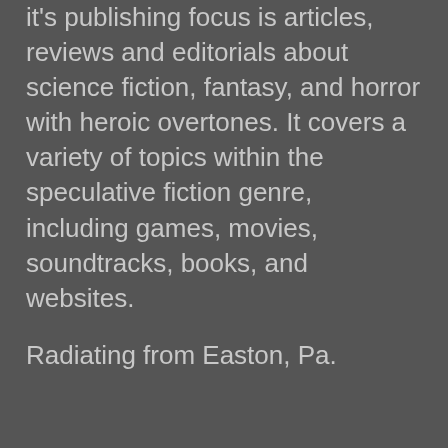it's publishing focus is articles, reviews and editorials about science fiction, fantasy, and horror with heroic overtones. It covers a variety of topics within the speculative fiction genre, including games, movies, soundtracks, books, and websites.
Radiating from Easton, Pa.